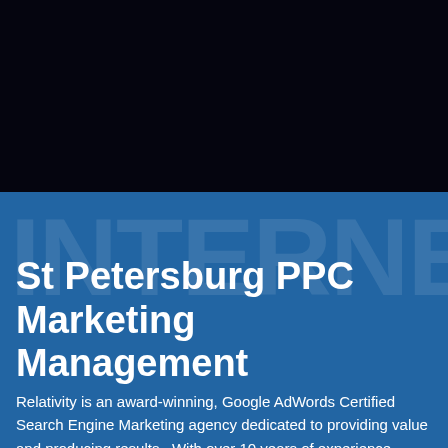[Figure (photo): Dark/black banner image at the top of the page]
St Petersburg PPC Marketing Management
Relativity is an award-winning, Google AdWords Certified Search Engine Marketing agency dedicated to providing value and producing results.  With over 10 years of experience providing high quality Internet Marketing with proven results in global